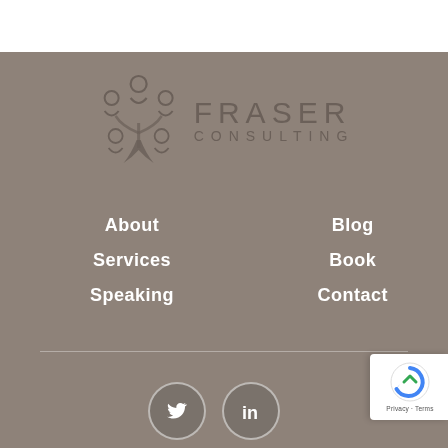[Figure (logo): Fraser Consulting logo with abstract people/tree icon and text FRASER CONSULTING]
About
Services
Speaking
Blog
Book
Contact
[Figure (illustration): Twitter and LinkedIn social media icons in circular borders]
[Figure (other): reCAPTCHA privacy badge with blue/grey arrow icon, text Privacy - Terms]